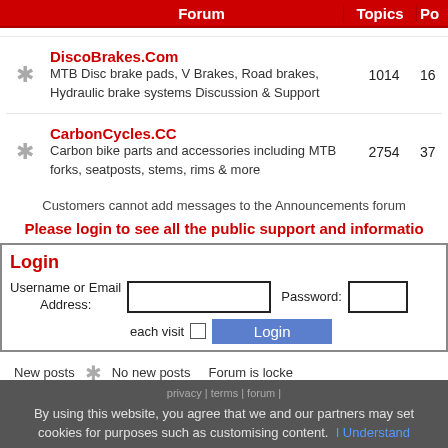Forum | Topics | Po
DiscoBrakes.Com
MTB Disc brake pads, V Brakes, Road brakes, Hydraulic brake systems Discussion & Support
1014
16
CarbonCycles.CC
Carbon bike parts and accessories including MTB forks, seatposts, stems, rims & more
2754
37
Customers cannot add messages to the Announcements forum
Please login to see all the public support and informatio
Login
Username or Email Address:
Password:
each visit
New posts   *   No new posts   Forum is locke
privacy | terms | forum |
By using this website, you agree that we and our partners may set cookies for purposes such as customising content. I Understand